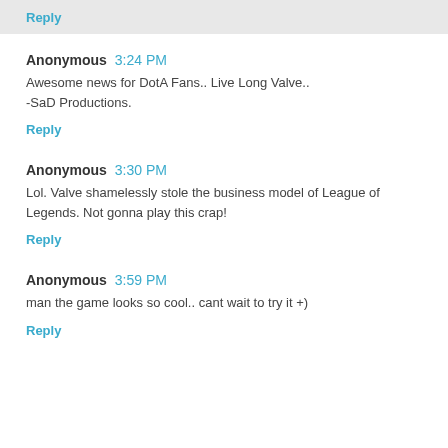Reply
Anonymous 3:24 PM
Awesome news for DotA Fans.. Live Long Valve.. -SaD Productions.
Reply
Anonymous 3:30 PM
Lol. Valve shamelessly stole the business model of League of Legends. Not gonna play this crap!
Reply
Anonymous 3:59 PM
man the game looks so cool.. cant wait to try it +)
Reply